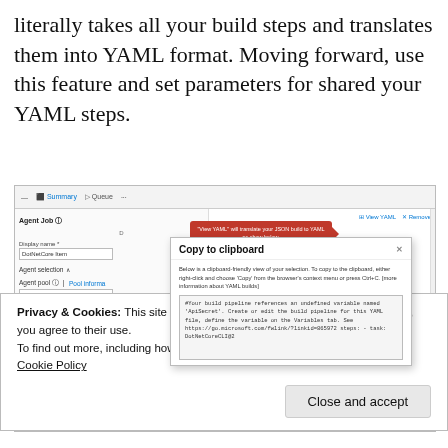literally takes all your build steps and translates them into YAML format. Moving forward, use this feature and set parameters for shared your YAML steps.
[Figure (screenshot): Screenshot of Azure DevOps pipeline UI showing Agent Job configuration panel, a red tooltip saying 'View YAML will translate your JSON build to YAML as show below', a 'Copy to clipboard' modal dialog with clipboard-friendly YAML content, and top-right 'View YAML' and 'Remove' buttons.]
Privacy & Cookies: This site uses cookies. By continuing to use this website, you agree to their use.
To find out more, including how to control cookies, see here: Cookie Policy